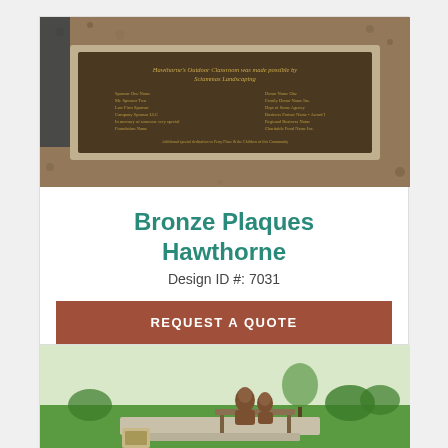[Figure (photo): Photo of a bronze plaque mounted on stone, with text listing donors/sponsors. Background of brown mulch/gravel.]
Bronze Plaques Hawthorne
Design ID #: 7031
REQUEST A QUOTE
[Figure (photo): Photo of a bronze sculpture showing two figures (children or youth) sitting on a bench, placed on a concrete platform on a grass lawn, with shrubs and trees in background. A small plaque box is in the foreground.]